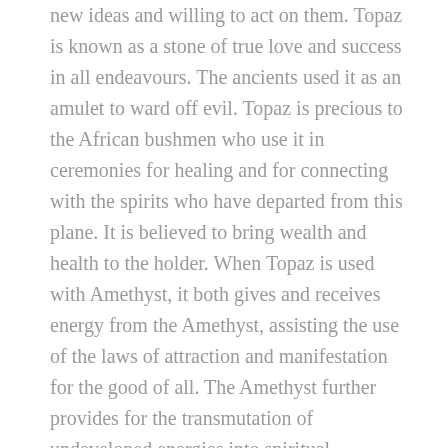new ideas and willing to act on them. Topaz is known as a stone of true love and success in all endeavours. The ancients used it as an amulet to ward off evil. Topaz is precious to the African bushmen who use it in ceremonies for healing and for connecting with the spirits who have departed from this plane. It is believed to bring wealth and health to the holder. When Topaz is used with Amethyst, it both gives and receives energy from the Amethyst, assisting the use of the laws of attraction and manifestation for the good of all. The Amethyst further provides for the transmutation of undeveloped energies into spiritual vibrations to produce a soothing, clearing and stabilizing effect.
The water energy of the river add clarity to the creativity effects of Topaz.
These naturally river tumbled Topaz crystals range in size from approx. 1/4" to 7/8". I will listen for the crystal who is singing for you.